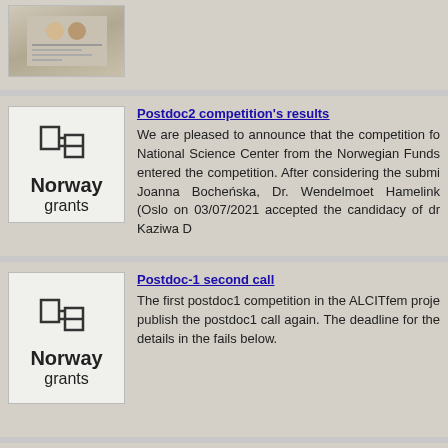[Figure (photo): Thumbnail image of a document page with faces at top]
[Figure (logo): Norway Grants logo - stylized N with horizontal lines, text Norway grants]
Postdoc2 competition's results
We are pleased to announce that the competition fo National Science Center from the Norwegian Funds entered the competition. After considering the submi Joanna Bocheńska, Dr. Wendelmoet Hamelink (Oslo on 03/07/2021 accepted the candidacy of dr Kaziwa D
[Figure (logo): Norway Grants logo - stylized N with horizontal lines, text Norway grants]
Postdoc-1 second call
The first postdoc1 competition in the ALCITfem proje publish the postdoc1 call again. The deadline for the details in the fails below.
[Figure (photo): Dark semi-circular poster image for Dengbejs seminar]
Dengbejs' Performance as Inspiration for Modern Kurdish Theatre a
We have pleasure to invite you to the seminar entitled D participation of Dr Duygu Çelik (Munzur University) and Dr A Date: 20.04.2021 Time: 3-5 pm. (CET)